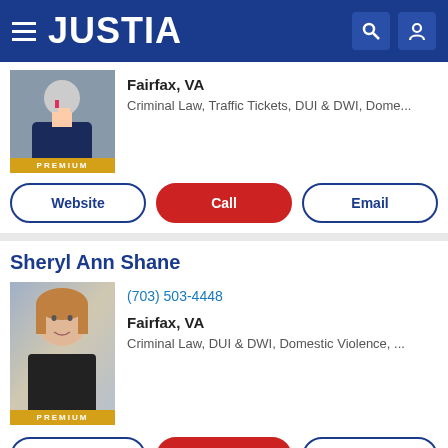JUSTIA
Fairfax, VA
Criminal Law, Traffic Tickets, DUI & DWI, Dome...
Website | Call | Email
Sheryl Ann Shane
(703) 503-4448
Fairfax, VA
Criminal Law, DUI & DWI, Domestic Violence, ...
Website | Call | Email
Faraji A. Rosenthall